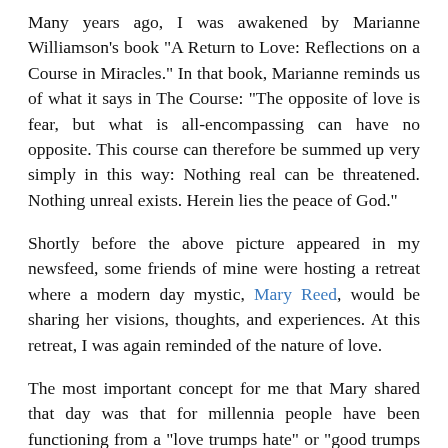Many years ago, I was awakened by Marianne Williamson's book "A Return to Love: Reflections on a Course in Miracles." In that book, Marianne reminds us of what it says in The Course: "The opposite of love is fear, but what is all-encompassing can have no opposite. This course can therefore be summed up very simply in this way: Nothing real can be threatened. Nothing unreal exists. Herein lies the peace of God."
Shortly before the above picture appeared in my newsfeed, some friends of mine were hosting a retreat where a modern day mystic, Mary Reed, would be sharing her visions, thoughts, and experiences. At this retreat, I was again reminded of the nature of love.
The most important concept for me that Mary shared that day was that for millennia people have been functioning from a "love trumps hate" or "good trumps bad" model. That is, people have been waging war to make peace; fighting against fear; fighting for love. The